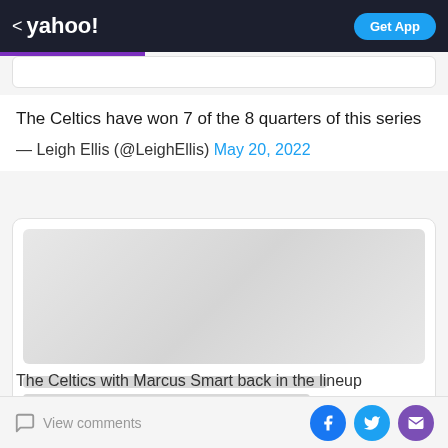< yahoo! | Get App
The Celtics have won 7 of the 8 quarters of this series
— Leigh Ellis (@LeighEllis) May 20, 2022
[Figure (screenshot): Embedded tweet card with a blurred/loading image placeholder and two gray text placeholder bars below it]
The Celtics with Marcus Smart back in the lineup